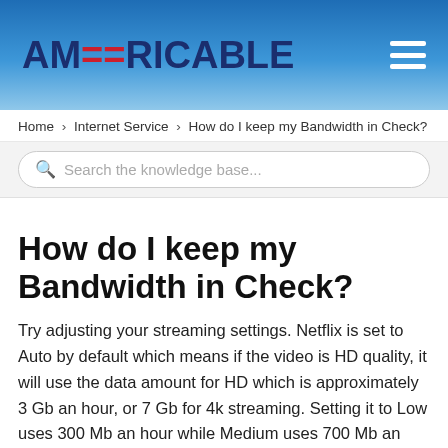AMERICABLE
Home > Internet Service > How do I keep my Bandwidth in Check?
How do I keep my Bandwidth in Check?
Try adjusting your streaming settings. Netflix is set to Auto by default which means if the video is HD quality, it will use the data amount for HD which is approximately 3 Gb an hour, or 7 Gb for 4k streaming. Setting it to Low uses 300 Mb an hour while Medium uses 700 Mb an hour. Please use a PC to make these